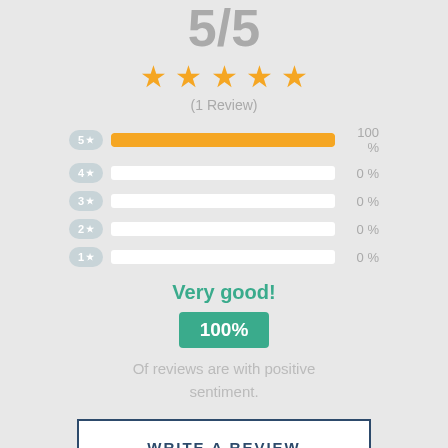5/5
[Figure (other): Five gold stars rating display]
(1 Review)
[Figure (bar-chart): Rating breakdown]
Very good!
100%
Of reviews are with positive sentiment.
WRITE A REVIEW
Review 1